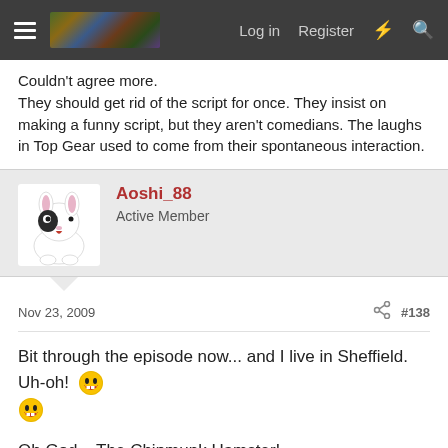Log in  Register
Couldn't agree more.
They should get rid of the script for once. They insist on making a funny script, but they aren't comedians. The laughs in Top Gear used to come from their spontaneous interaction.
Aoshi_88
Active Member
Nov 23, 2009  #138
Bit through the episode now... and I live in Sheffield. Uh-oh! 😀 😀
Oh God... The Chipmunk Hamster!
Last edited: Nov 23, 2009
Kiskaloo
Well-Known Member